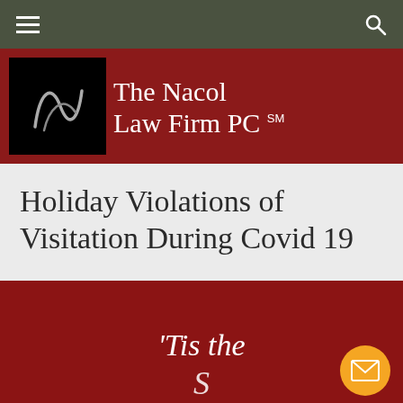The Nacol Law Firm PC
Holiday Violations of Visitation During Covid 19
[Figure (photo): Dark red background with italic white cursive text reading 'Tis the Season' (partially visible), with an orange email contact button in the bottom right corner]